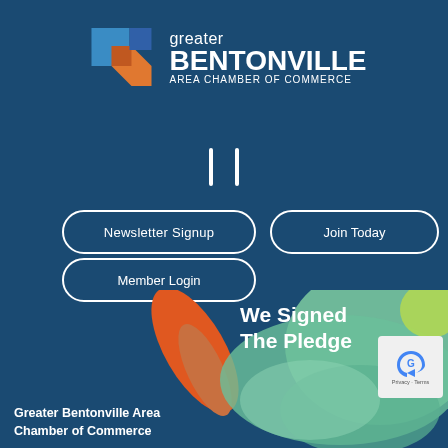[Figure (logo): Greater Bentonville Area Chamber of Commerce logo with geometric diamond shape in blue and orange, and text 'greater BENTONVILLE area CHAMBER OF COMMERCE']
[Figure (other): Square bracket icon in white]
Newsletter Signup
Join Today
Member Login
[Figure (illustration): Abstract colorful splash shape (teal/green and orange) with text 'We Signed The Pledge' overlaid in white bold text]
[Figure (other): reCAPTCHA badge with privacy and terms links]
Greater Bentonville Area
Chamber of Commerce